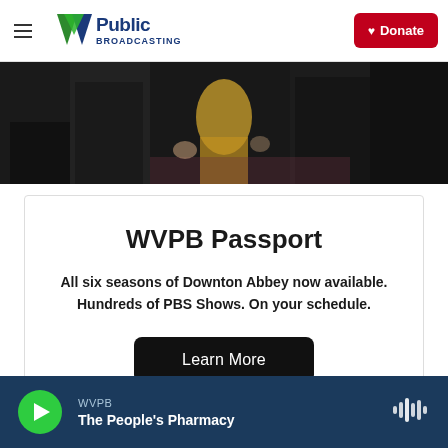WVPB Public Broadcasting | Donate
[Figure (photo): Cropped photo of people in formal dark attire, partial view from chest down, one person in a gold/yellow dress in the center background]
WVPB Passport
All six seasons of Downton Abbey now available. Hundreds of PBS Shows. On your schedule.
Learn More
WVPB | The People's Pharmacy